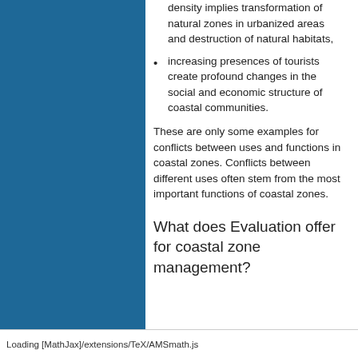density implies transformation of natural zones in urbanized areas and destruction of natural habitats,
increasing presences of tourists create profound changes in the social and economic structure of coastal communities.
These are only some examples for conflicts between uses and functions in coastal zones. Conflicts between different uses often stem from the most important functions of coastal zones.
What does Evaluation offer for coastal zone management?
Loading [MathJax]/extensions/TeX/AMSmath.js